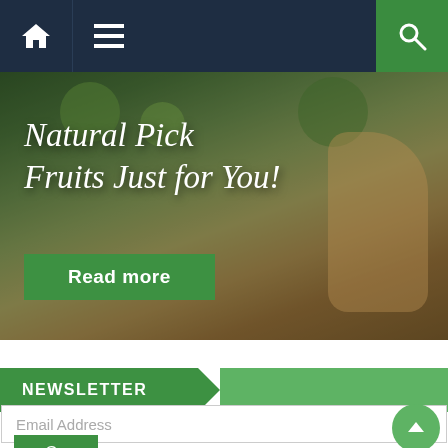[Figure (screenshot): Mobile website navigation bar with dark navy background, home icon on left, hamburger menu, and green search icon on right]
[Figure (photo): Hero banner image of child picking fruits from a tree with overlay text 'Natural Pick Fruits Just for You!' and a green 'Read more' button]
NEWSLETTER
Subscribe to our mailing list and get interesting stuff and updates to your email inbox.